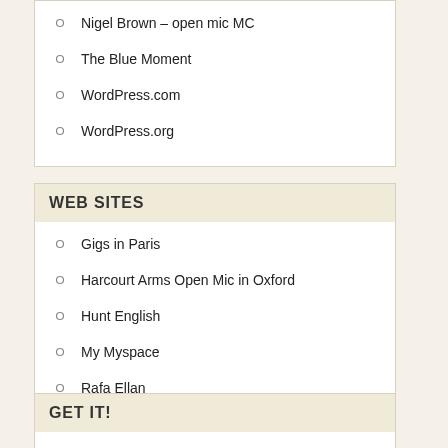Nigel Brown – open mic MC
The Blue Moment
WordPress.com
WordPress.org
WEB SITES
Gigs in Paris
Harcourt Arms Open Mic in Oxford
Hunt English
My Myspace
Rafa Ellan
GET IT!